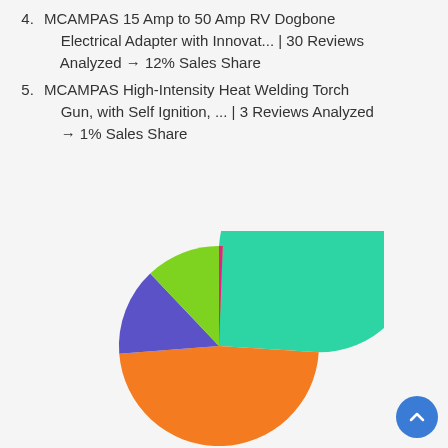MCAMPAS 15 Amp to 50 Amp RV Dogbone Electrical Adapter with Innovat... | 30 Reviews Analyzed → 12% Sales Share
MCAMPAS High-Intensity Heat Welding Torch Gun, with Self Ignition, ... | 3 Reviews Analyzed → 1% Sales Share
[Figure (pie-chart): Sales Share Pie Chart]